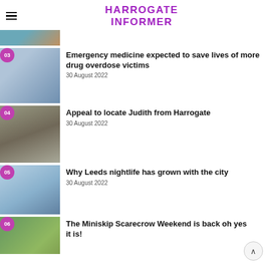HARROGATE INFORMER
[Figure (photo): Partial thumbnail image at top, cropped]
[Figure (photo): Badge 03: Two people exchanging something, possibly medication or a package]
Emergency medicine expected to save lives of more drug overdose victims
30 August 2022
[Figure (photo): Badge 04: Outdoor hillside landscape with an elderly woman in foreground]
Appeal to locate Judith from Harrogate
30 August 2022
[Figure (photo): Badge 05: City skyline view with green hillside in foreground]
Why Leeds nightlife has grown with the city
30 August 2022
[Figure (photo): Badge 06: Miniskip with scarecrow figures on green grass]
The Miniskip Scarecrow Weekend is back oh yes it is!